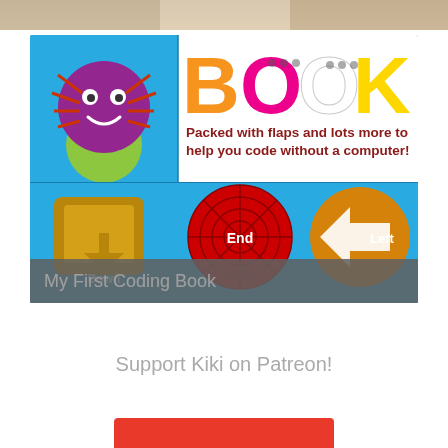[Figure (photo): Partial top strip of a photo, appears to be hands or a scene, cropped at top of page]
[Figure (photo): Book cover of 'My First Coding Book' - colorful children's educational coding book with a cartoon spider and programming instruction buttons (Start, Down, End, Left). Text on cover: 'Packed with flaps and lots more to help you code without a computer!']
My First Coding Book
Support Kiki on Patreon!